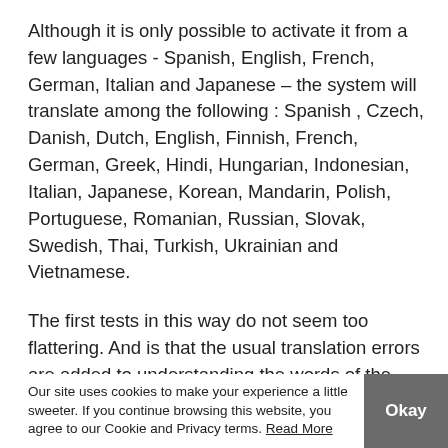Although it is only possible to activate it from a few languages - Spanish, English, French, German, Italian and Japanese – the system will translate among the following : Spanish , Czech, Danish, Dutch, English, Finnish, French, German, Greek, Hindi, Hungarian, Indonesian, Italian, Japanese, Korean, Mandarin, Polish, Portuguese, Romanian, Russian, Slovak, Swedish, Thai, Turkish, Ukrainian and Vietnamese.
The first tests in this way do not seem too flattering. And is that the usual translation errors are added to understanding the words of the interlocutors and, as if that were not enough, those of understanding them. Therefore, I would not recommend this feature in conversations that are too relevant at the moment.
How to activate it
Our site uses cookies to make your experience a little sweeter. If you continue browsing this website, you agree to our Cookie and Privacy terms. Read More